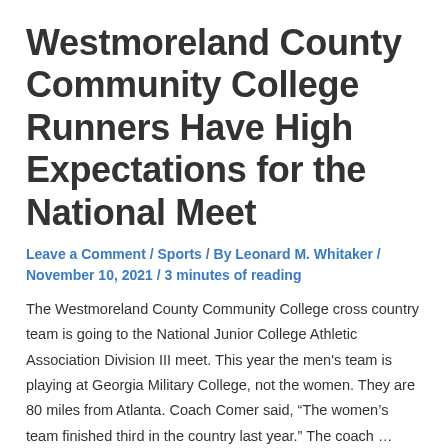Westmoreland County Community College Runners Have High Expectations for the National Meet
Leave a Comment / Sports / By Leonard M. Whitaker / November 10, 2021 / 3 minutes of reading
The Westmoreland County Community College cross country team is going to the National Junior College Athletic Association Division III meet. This year the men's team is playing at Georgia Military College, not the women. They are 80 miles from Atlanta. Coach Comer said, “The women’s team finished third in the country last year.” The coach …
Read More »